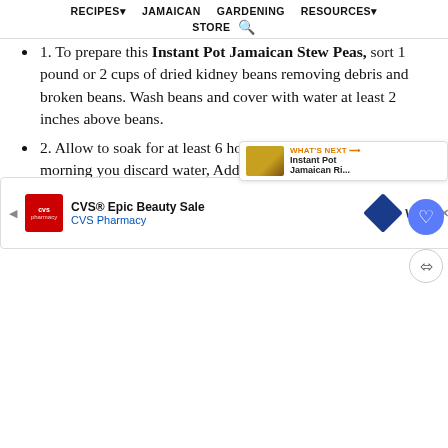RECIPES▾  JAMAICAN  GARDENING  RESOURCES▾  STORE 🔍
1. To prepare this Instant Pot Jamaican Stew Peas, sort 1 pound or 2 cups of dried kidney beans removing debris and broken beans. Wash beans and cover with water at least 2 inches above beans.
2. Allow to soak for at least 6 hours or overnight, the following morning you discard water, Add kidney beans to Instant Pot with 8 cups of water and place the lid on sealing, cook on manual high pressure for 28 minutes. At the end of 28 minutes, use the Q release method.